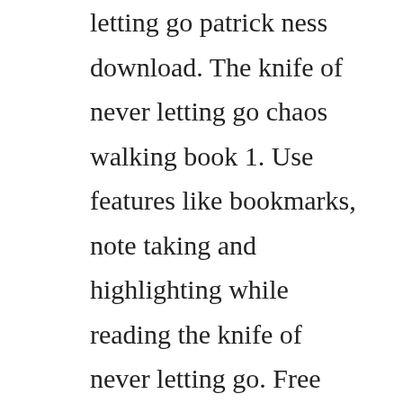letting go patrick ness download. The knife of never letting go chaos walking book 1. Use features like bookmarks, note taking and highlighting while reading the knife of never letting go. Free download or read online the knife of never letting go pdf epub book. A decade after its release, the astonishing opener to patrick nesss chaos walking trilogy still resonates. The knife of never letting go by patrick ness overdrive. The book was published in multiple languages including english, consists of 479 pages and is available in hardcover format. Everything, ebooks,